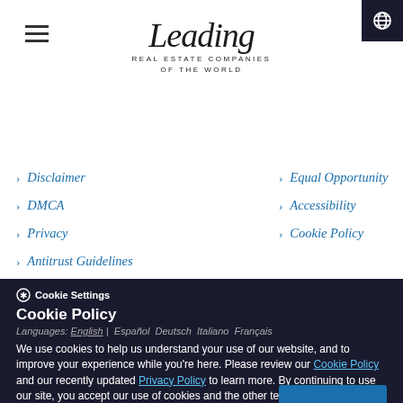[Figure (logo): Leading Real Estate Companies of The World logo with hamburger menu and globe icon]
Disclaimer
Equal Opportunity
DMCA
Accessibility
Privacy
Cookie Policy
Antitrust Guidelines
Member Login
[Figure (infographic): Social media icons: Facebook, Twitter, Instagram]
Cookie Settings
Cookie Policy
Languages: English | Español Deutsch Italiano Français
We use cookies to help us understand your use of our website, and to improve your experience while you're here. Please review our Cookie Policy and our recently updated Privacy Policy to learn more. By continuing to use our site, you accept our use of cookies and the other terms set forth in these Policies, as well as our Terms of Use.